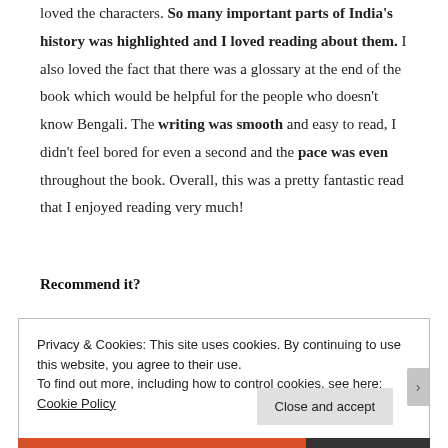loved the characters. So many important parts of India's history was highlighted and I loved reading about them. I also loved the fact that there was a glossary at the end of the book which would be helpful for the people who doesn't know Bengali. The writing was smooth and easy to read, I didn't feel bored for even a second and the pace was even throughout the book. Overall, this was a pretty fantastic read that I enjoyed reading very much!
Recommend it?
Privacy & Cookies: This site uses cookies. By continuing to use this website, you agree to their use. To find out more, including how to control cookies, see here: Cookie Policy